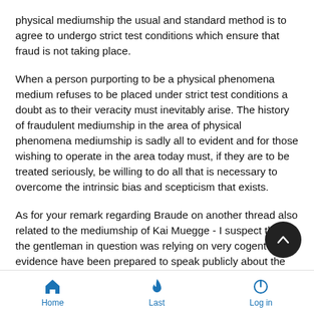physical mediumship the usual and standard method is to agree to undergo strict test conditions which ensure that fraud is not taking place.
When a person purporting to be a physical phenomena medium refuses to be placed under strict test conditions a doubt as to their veracity must inevitably arise. The history of fraudulent mediumship in the area of physical phenomena mediumship is sadly all to evident and for those wishing to operate in the area today must, if they are to be treated seriously, be willing to do all that is necessary to overcome the intrinsic bias and scepticism that exists.
As for your remark regarding Braude on another thread also related to the mediumship of Kai Muegge - I suspect that the gentleman in question was relying on very cogent evidence have been prepared to speak publicly about the matter at a Conference.
Home  Last  Log in